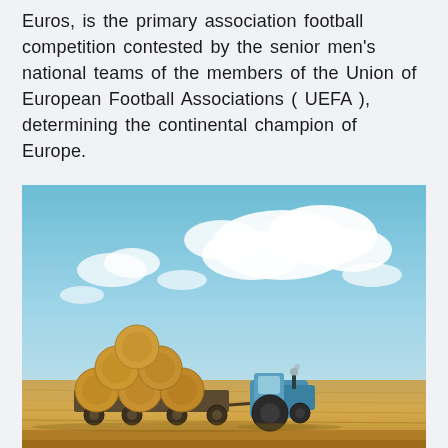Euros, is the primary association football competition contested by the senior men's national teams of the members of the Union of European Football Associations ( UEFA ), determining the continental champion of Europe.
[Figure (photo): A blue tractor pulling a trailer loaded with large round hay bales across a golden harvested field under a partly cloudy sky.]